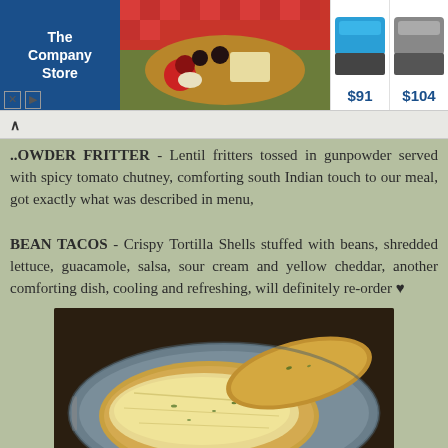[Figure (screenshot): Advertisement banner showing The Company Store logo on left, food/charcuterie board photo in center, and two bedding items priced at $91 and $104 on the right]
GUNPOWDER FRITTER - Lentil fritters tossed in gunpowder served with spicy tomato chutney, comforting south Indian touch to our meal, got exactly what was described in menu,
BEAN TACOS - Crispy Tortilla Shells stuffed with beans, shredded lettuce, guacamole, salsa, sour cream and yellow cheddar, another comforting dish, cooling and refreshing, will definitely re-order ♥
[Figure (photo): Photo of food on a blue/grey plate showing what appears to be cheesy bread or toast with melted cheese on top]